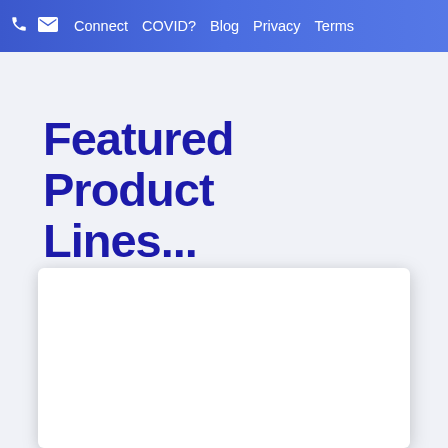Connect  COVID?  Blog  Privacy  Terms
Featured Product Lines...
[Figure (other): White card panel with drop shadow, partially visible at bottom of page]